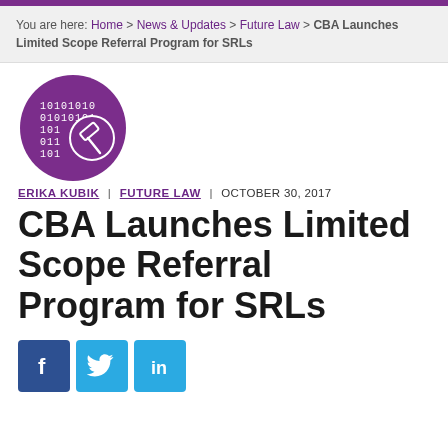You are here: Home > News & Updates > Future Law > CBA Launches Limited Scope Referral Program for SRLs
[Figure (logo): Purple circle logo with binary digits and a gavel icon, representing Future Law digital legal concept]
ERIKA KUBIK | FUTURE LAW | OCTOBER 30, 2017
CBA Launches Limited Scope Referral Program for SRLs
[Figure (infographic): Social media sharing icons: Facebook (dark blue), Twitter (blue bird), LinkedIn (blue with 'in')]